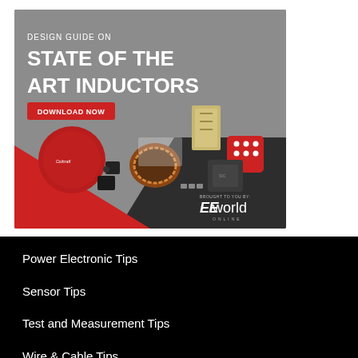[Figure (illustration): Advertisement banner for EEWorld Online 'Design Guide on State of the Art Inductors' with a Download Now button, showing various electronic inductor components on a gray background with red and dark accents, and brought to you by EEworld Online branding.]
Power Electronic Tips
Sensor Tips
Test and Measurement Tips
Wire & Cable Tips